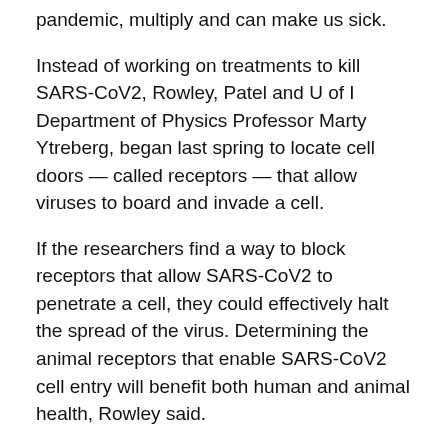pandemic, multiply and can make us sick.
Instead of working on treatments to kill SARS-CoV2, Rowley, Patel and U of I Department of Physics Professor Marty Ytreberg, began last spring to locate cell doors — called receptors — that allow viruses to board and invade a cell.
If the researchers find a way to block receptors that allow SARS-CoV2 to penetrate a cell, they could effectively halt the spread of the virus. Determining the animal receptors that enable SARS-CoV2 cell entry will benefit both human and animal health, Rowley said.
So far, scientists have learned that livestock is not as susceptible to coronavirus as humans, he said.
This project was funded to University of Idaho by the National Science Foundation under award 2032153.